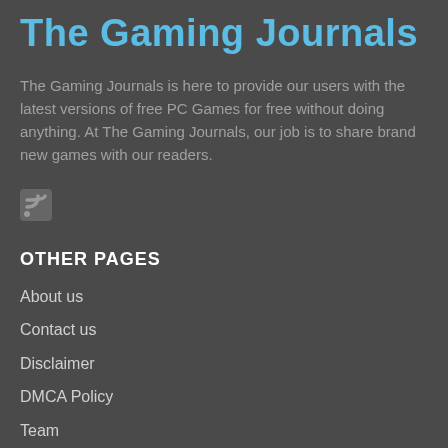The Gaming Journals
The Gaming Journals is here to provide our users with the latest versions of free PC Games for free without doing anything. At The Gaming Journals, our job is to share brand new games with our readers.
[Figure (other): RSS feed icon - small grey RSS symbol]
OTHER PAGES
About us
Contact us
Disclaimer
DMCA Policy
Team
Privacy Policy
Terms and Conditions